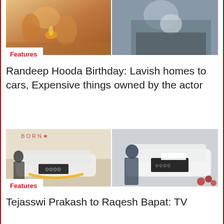[Figure (photo): Two photos side by side: left shows a person at a festive/puja ceremony with decorations; right shows a man in casual clothes]
Features
Randeep Hooda Birthday: Lavish homes to cars, Expensive things owned by the actor
[Figure (photo): Two photos side by side: left shows a woman in black outfit standing next to a white Audi SUV with flower garland; right shows a man in blue denim outfit standing next to a white Audi vehicle]
Features
Tejasswi Prakash to Raqesh Bapat: TV